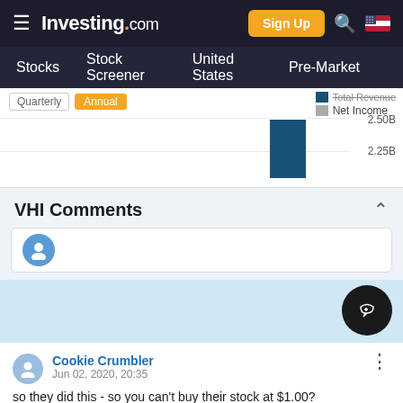[Figure (screenshot): Investing.com navigation bar with logo, Sign Up button, search icon, and US flag]
Stocks  Stock Screener  United States  Pre-Market
[Figure (bar-chart): Partial bar chart showing a blue bar around 2.25B-2.50B range with y-axis labels 2.50B and 2.25B]
VHI Comments
Cookie Crumbler
Jun 02, 2020, 20:35
so they did this - so you can't buy their stock at $1.00?